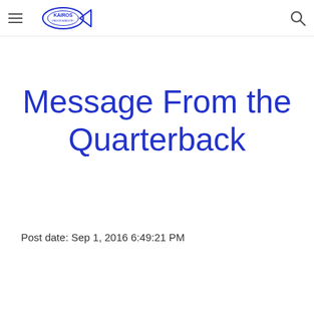KAIROS [logo] [hamburger menu] [search icon]
Message From the Quarterback
Post date: Sep 1, 2016 6:49:21 PM